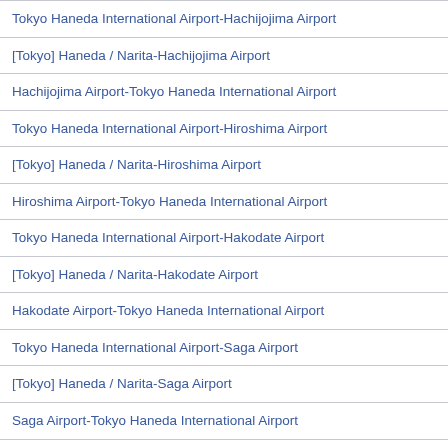Tokyo Haneda International Airport-Hachijojima Airport
[Tokyo] Haneda / Narita-Hachijojima Airport
Hachijojima Airport-Tokyo Haneda International Airport
Tokyo Haneda International Airport-Hiroshima Airport
[Tokyo] Haneda / Narita-Hiroshima Airport
Hiroshima Airport-Tokyo Haneda International Airport
Tokyo Haneda International Airport-Hakodate Airport
[Tokyo] Haneda / Narita-Hakodate Airport
Hakodate Airport-Tokyo Haneda International Airport
Tokyo Haneda International Airport-Saga Airport
[Tokyo] Haneda / Narita-Saga Airport
Saga Airport-Tokyo Haneda International Airport
Tokyo Haneda International Airport-New Ishigaki Airport
[Tokyo] Haneda / Narita-New Ishigaki Airport